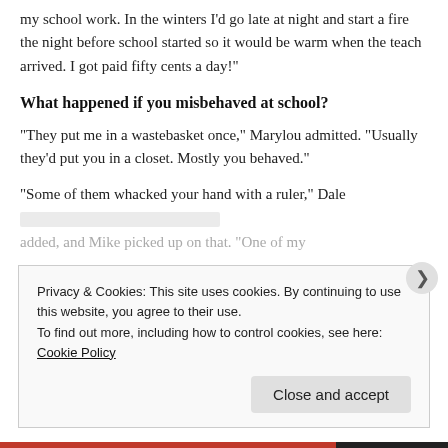my school work. In the winters I’d go late at night and start a fire the night before school started so it would be warm when the teach arrived. I got paid fifty cents a day!”
What happened if you misbehaved at school?
“They put me in a wastebasket once,” Marylou admitted. “Usually they’d put you in a closet. Mostly you behaved.”
“Some of them whacked your hand with a ruler,” Dale added, and Mike picked up on that. “One of my
Privacy & Cookies: This site uses cookies. By continuing to use this website, you agree to their use.
To find out more, including how to control cookies, see here: Cookie Policy